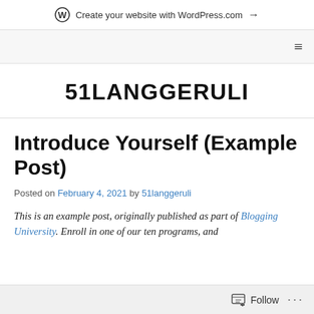Create your website with WordPress.com →
51LANGGERULI
Introduce Yourself (Example Post)
Posted on February 4, 2021 by 51langgeruli
This is an example post, originally published as part of Blogging University. Enroll in one of our ten programs, and
Follow ...